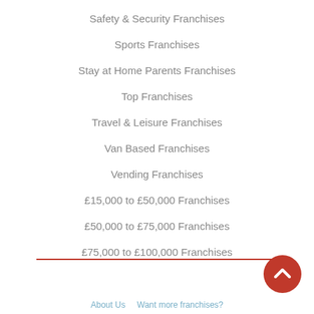Safety & Security Franchises
Sports Franchises
Stay at Home Parents Franchises
Top Franchises
Travel & Leisure Franchises
Van Based Franchises
Vending Franchises
£15,000 to £50,000 Franchises
£50,000 to £75,000 Franchises
£75,000 to £100,000 Franchises
About Us   Want more franchises?